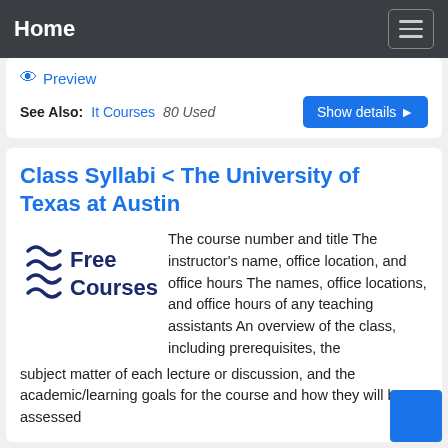Home
Preview
See Also: It Courses  80 Used
Class Syllabi < The University of Texas at Austin
[Figure (logo): Free Courses logo with wave lines on the left and bold text 'Free Courses' on the right]
The course number and title The instructor's name, office location, and office hours The names, office locations, and office hours of any teaching assistants An overview of the class, including prerequisites, the subject matter of each lecture or discussion, and the academic/learning goals for the course and how they will be assessed